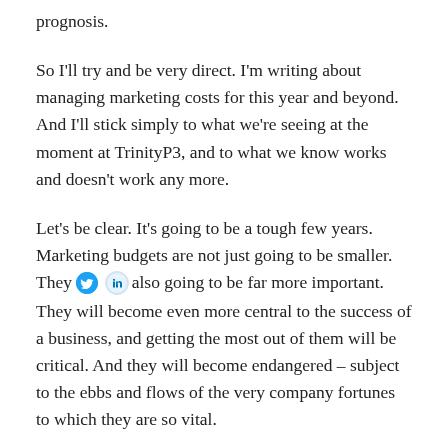prognosis.
So I'll try and be very direct. I'm writing about managing marketing costs for this year and beyond. And I'll stick simply to what we're seeing at the moment at TrinityP3, and to what we know works and doesn't work any more.
Let's be clear. It's going to be a tough few years. Marketing budgets are not just going to be smaller. They are also going to be far more important. They will become even more central to the success of a business, and getting the most out of them will be critical. And they will become endangered – subject to the ebbs and flows of the very company fortunes to which they are so vital.